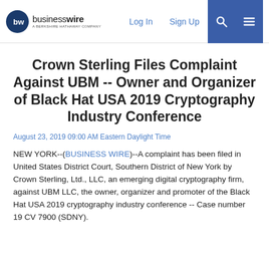businesswire — A Berkshire Hathaway Company | Log In | Sign Up
Crown Sterling Files Complaint Against UBM -- Owner and Organizer of Black Hat USA 2019 Cryptography Industry Conference
August 23, 2019 09:00 AM Eastern Daylight Time
NEW YORK--(BUSINESS WIRE)--A complaint has been filed in United States District Court, Southern District of New York by Crown Sterling, Ltd., LLC, an emerging digital cryptography firm, against UBM LLC, the owner, organizer and promoter of the Black Hat USA 2019 cryptography industry conference -- Case number 19 CV 7900 (SDNY).